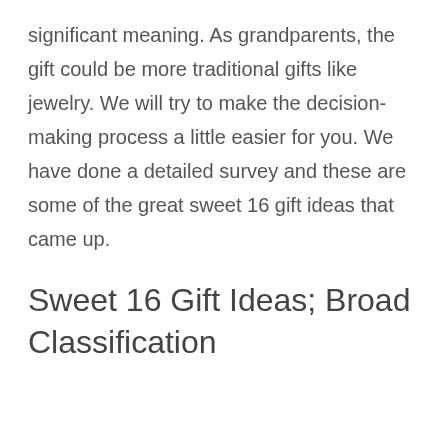significant meaning. As grandparents, the gift could be more traditional gifts like jewelry. We will try to make the decision-making process a little easier for you. We have done a detailed survey and these are some of the great sweet 16 gift ideas that came up.
Sweet 16 Gift Ideas; Broad Classification